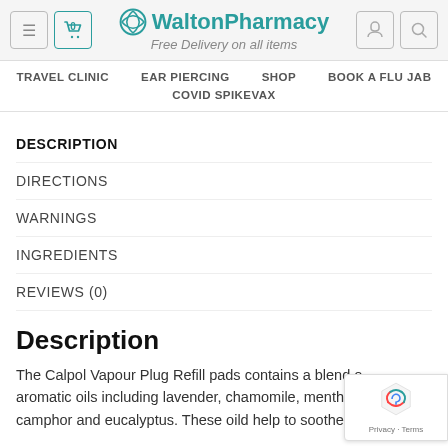WaltonPharmacy — Free Delivery on all items
TRAVEL CLINIC   EAR PIERCING   SHOP   BOOK A FLU JAB   COVID SPIKEVAX
DESCRIPTION
DIRECTIONS
WARNINGS
INGREDIENTS
REVIEWS (0)
Description
The Calpol Vapour Plug Refill pads contains a blend of aromatic oils including lavender, chamomile, menthol, camphor and eucalyptus. These oild help to soothe and